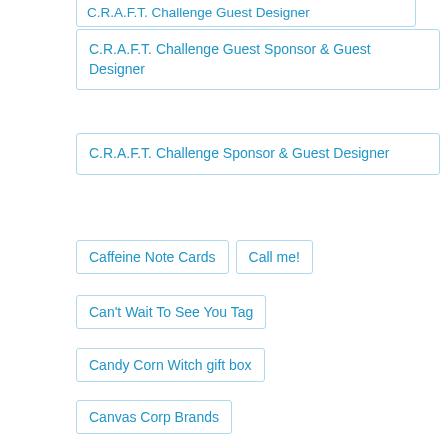C.R.A.F.T. Challenge Guest Designer
C.R.A.F.T. Challenge Guest Sponsor & Guest Designer
C.R.A.F.T. Challenge Sponsor & Guest Designer
Caffeine Note Cards
Call me!
Can't Wait To See You Tag
Candy Corn Witch gift box
Canvas Corp Brands
Cardinal Christmas Ornament
CAS
CAS-ual Fridays Stamps
CAS Inspirational Card Trio